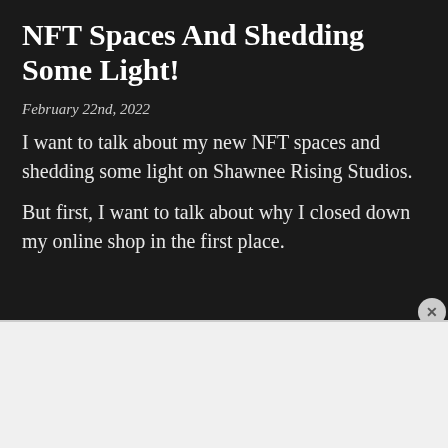NFT Spaces And Shedding Some Light!
February 22nd, 2022
I want to talk about my new NFT spaces and shedding some light on Shawnee Rising Studios.
But first, I want to talk about why I closed down my online shop in the first place.
Advertisements
[Figure (screenshot): DuckDuckGo advertisement banner: orange background with text 'Search, browse, and email with more privacy. All in One Free App' and a phone graphic showing the DuckDuckGo logo and brand name.]